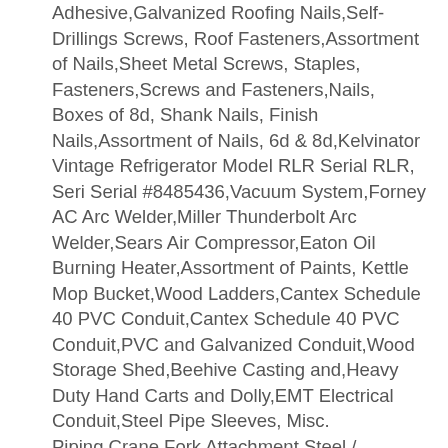Adhesive,Galvanized Roofing Nails,Self-Drillings Screws, Roof Fasteners,Assortment of Nails,Sheet Metal Screws, Staples, Fasteners,Screws and Fasteners,Nails, Boxes of 8d, Shank Nails, Finish Nails,Assortment of Nails, 6d & 8d,Kelvinator Vintage Refrigerator Model RLR Serial RLR, Seri Serial #8485436,Vacuum System,Forney AC Arc Welder,Miller Thunderbolt Arc Welder,Sears Air Compressor,Eaton Oil Burning Heater,Assortment of Paints, Kettle Mop Bucket,Wood Ladders,Cantex Schedule 40 PVC Conduit,Cantex Schedule 40 PVC Conduit,PVC and Galvanized Conduit,Wood Storage Shed,Beehive Casting and,Heavy Duty Hand Carts and Dolly,EMT Electrical Conduit,Steel Pipe Sleeves, Misc. Piping,Crane Fork Attachment,Steel / Aluminum Brackets & Angles,Rubber Hoses / Tubing,Barrel Hand Pumps,Trench Drain Channels & Grating,Rolling Hand Cart,Pallet Jack,Steel Frames, Handtools,Rebar Bender, Metal Roofing Crimps,Two (2) Flat Rolling Hand